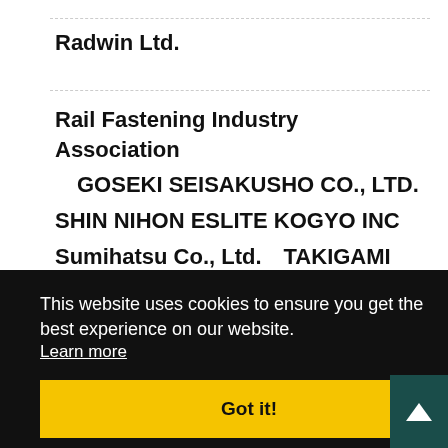Radwin Ltd.
Rail Fastening Industry Association　GOSEKI SEISAKUSHO CO., LTD.　SHIN NIHON ESLITE KOGYO INC　Sumihatsu Co., Ltd.　TAKIGAMI
This website uses cookies to ensure you get the best experience on our website.
Learn more
Got it!
CO.,Ltd.